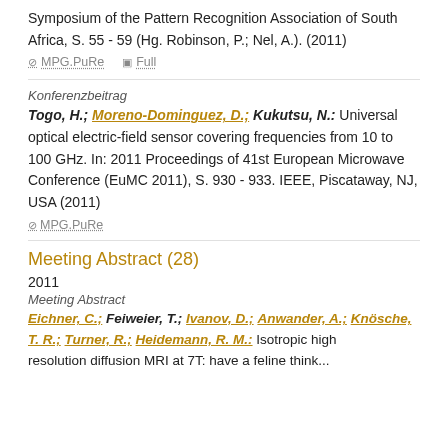Symposium of the Pattern Recognition Association of South Africa, S. 55 - 59 (Hg. Robinson, P.; Nel, A.). (2011)
MPG.PuRe   Full
Konferenzbeitrag
Togo, H.; Moreno-Dominguez, D.; Kukutsu, N.: Universal optical electric-field sensor covering frequencies from 10 to 100 GHz. In: 2011 Proceedings of 41st European Microwave Conference (EuMC 2011), S. 930 - 933. IEEE, Piscataway, NJ, USA (2011)
MPG.PuRe
Meeting Abstract (28)
2011
Meeting Abstract
Eichner, C.; Feiweier, T.; Ivanov, D.; Anwander, A.; Knösche, T. R.; Turner, R.; Heidemann, R. M.: Isotropic high resolution diffusion MRI at 7T: have a feline think...